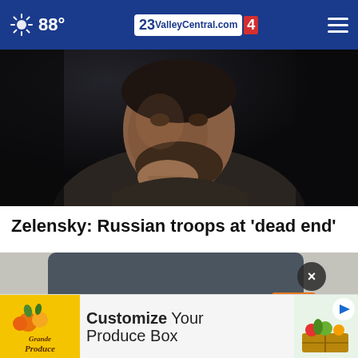88° ValleyCentral.com 23 4
[Figure (photo): Close-up photo of a man with a beard, wearing a dark jacket, resting his chin on his hand in a thoughtful pose.]
Zelensky: Russian troops at 'dead end'
[Figure (photo): Photo of a person at a table with hands visible and an orange product nearby, partially obscured by an advertisement overlay.]
[Figure (infographic): Advertisement banner for 'Grande Produce' with text: Customize Your Produce Box]